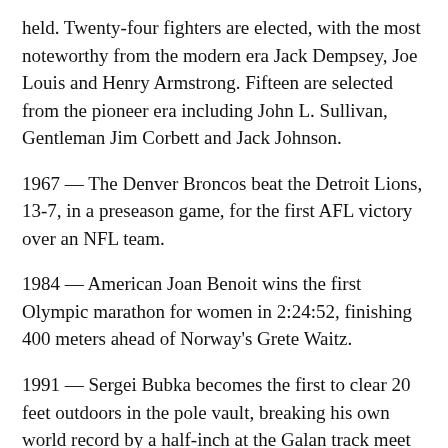held. Twenty-four fighters are elected, with the most noteworthy from the modern era Jack Dempsey, Joe Louis and Henry Armstrong. Fifteen are selected from the pioneer era including John L. Sullivan, Gentleman Jim Corbett and Jack Johnson.
1967 — The Denver Broncos beat the Detroit Lions, 13-7, in a preseason game, for the first AFL victory over an NFL team.
1984 — American Joan Benoit wins the first Olympic marathon for women in 2:24:52, finishing 400 meters ahead of Norway's Grete Waitz.
1991 — Sergei Bubka becomes the first to clear 20 feet outdoors in the pole vault, breaking his own world record by a half-inch at the Galan track meet in Malmo, Sweden.
1992 — The U.S. women's basketball team is upset by the Unified Team 79-73 in the semifinals at the Summer Olympics.